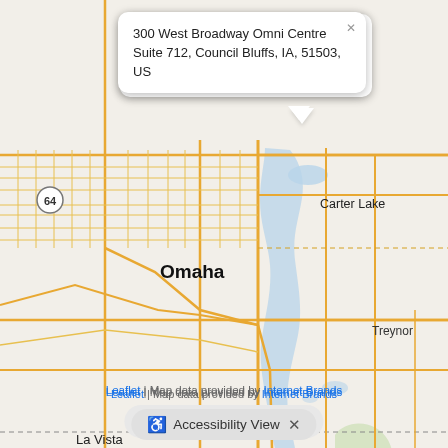[Figure (map): Street map showing the Omaha, Nebraska and Council Bluffs, Iowa area with surrounding cities including Carter Lake, La Vista, Papillion, Bellevue, Treynor, Silver City, Glenwood, Plattsmouth, Malvern, Cedar Creek, Springfield. A green map marker is placed near Council Bluffs/Carter Lake area. Road network shown in orange/yellow, water features in blue, parks in green, on a beige/cream background.]
300 West Broadway Omni Centre Suite 712, Council Bluffs, IA, 51503, US
Map Marker
Leaflet | Map data provided by Internet Brands
Accessibility View